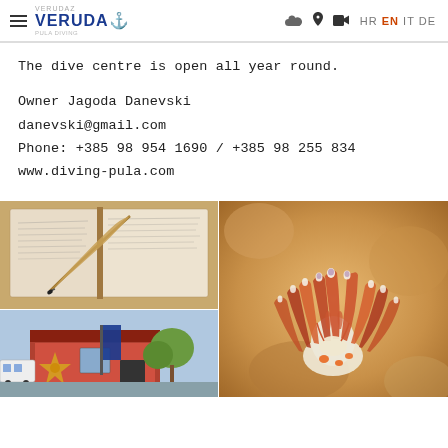VERUDAZ HR EN IT DE
The dive centre is open all year round.
Owner Jagoda Danevski
danevski@gmail.com
Phone: +385 98 954 1690 / +385 98 255 834
www.diving-pula.com
[Figure (photo): Open journal/logbook with a quill pen resting on it, handwritten entries visible]
[Figure (photo): Exterior of a dive shop building with a star-shaped sign/logo, a banner flag, trees and a bus visible]
[Figure (photo): Close-up macro photograph of a colorful nudibranch sea slug with orange and purple spiky cerata against a coral background]